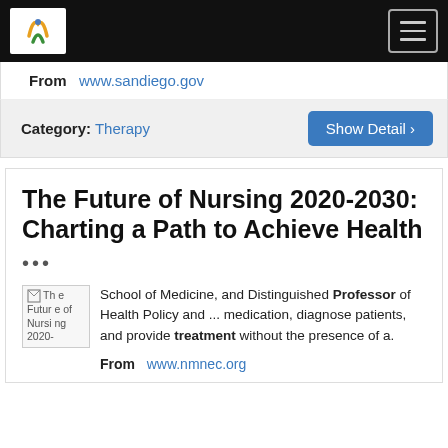[Figure (screenshot): Navigation bar with white logo and hamburger menu on black background]
From  www.sandiego.gov
Category: Therapy  Show Detail >
The Future of Nursing 2020-2030: Charting a Path to Achieve Health
...
[Figure (illustration): Broken image placeholder showing 'The Future of Nursing 2020-']
School of Medicine, and Distinguished Professor of Health Policy and ... medication, diagnose patients, and provide treatment without the presence of a.
From  www.nmnec.org